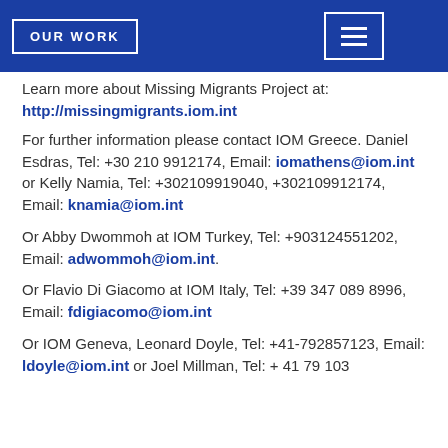OUR WORK
Learn more about Missing Migrants Project at: http://missingmigrants.iom.int
For further information please contact IOM Greece. Daniel Esdras, Tel: +30 210 9912174, Email: iomathens@iom.int or Kelly Namia, Tel: +302109919040, +302109912174, Email: knamia@iom.int
Or Abby Dwommoh at IOM Turkey, Tel: +903124551202, Email: adwommoh@iom.int.
Or Flavio Di Giacomo at IOM Italy, Tel: +39 347 089 8996, Email: fdigiacomo@iom.int
Or IOM Geneva, Leonard Doyle, Tel: +41-792857123, Email: ldoyle@iom.int or Joel Millman, Tel: + 41 79 103 07 09, Email: jmillman@iom.int